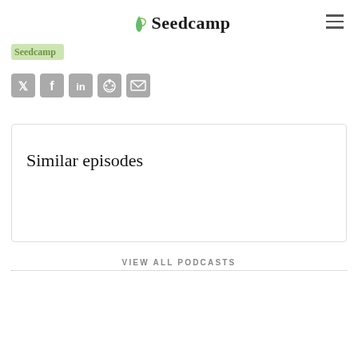Seedcamp
[Figure (logo): Seedcamp logo — partially visible green leaf logo at top left of secondary row]
[Figure (infographic): Social share icons row: Twitter, Facebook, LinkedIn, Reddit, Email — grey rounded square buttons]
Similar episodes
VIEW ALL PODCASTS